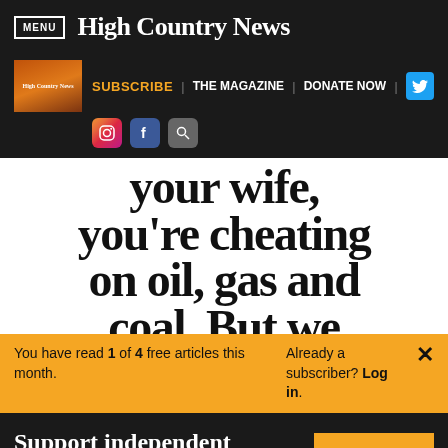MENU | High Country News
[Figure (logo): High Country News magazine cover thumbnail]
SUBSCRIBE | THE MAGAZINE | DONATE NOW
your wife, you're cheating on oil, gas and coal. But we need every
You have read 1 of 4 free articles this month. Already a subscriber? Log in.
Support independent journalism. Subscribe